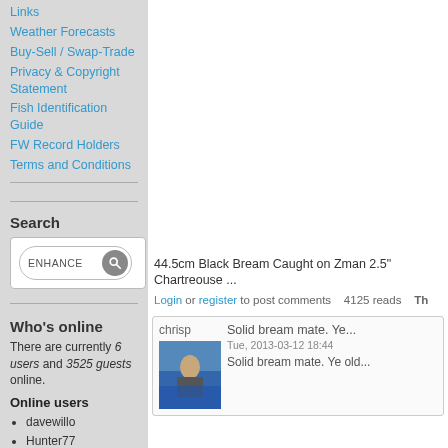Links
Weather Forecasts
Buy-Sell / Swap-Trade
Privacy & Copyright Statement
Fish Identification Guide
FW Record Holders
Terms and Conditions
Search
[Figure (screenshot): Search box with ENHANCE text and magnifying glass button]
Who's online
There are currently 6 users and 3525 guests online.
Online users
davewillo
Hunter77
Rob H
44.5cm Black Bream Caught on Zman 2.5" Chartreouse ...
Login or register to post comments    4125 reads    Th...
chrisp
Solid bream mate. Ye...
Tue, 2013-03-12 18:44
Solid bream mate. Ye old...